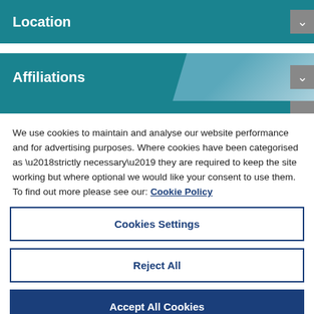Location
Affiliations
We use cookies to maintain and analyse our website performance and for advertising purposes. Where cookies have been categorised as ‘strictly necessary’ they are required to keep the site working but where optional we would like your consent to use them. To find out more please see our: Cookie Policy
Cookies Settings
Reject All
Accept All Cookies